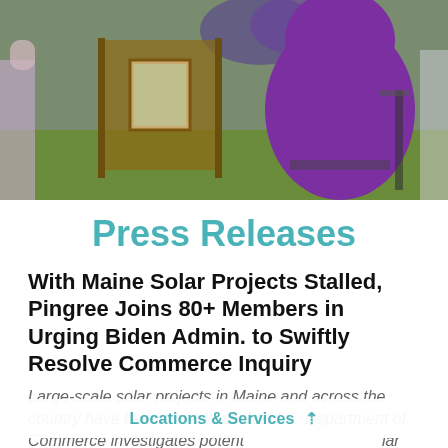[Figure (photo): Outdoor scene with people; a person wearing a purple hoodie is prominently visible, seated in a chair at what appears to be an outdoor event. Green grass and a wooden structure visible in background.]
Press Releases
With Maine Solar Projects Stalled, Pingree Joins 80+ Members in Urging Biden Admin. to Swiftly Resolve Commerce Inquiry
Large-scale solar projects in Maine and across the country have been on hold as the U.S. Department of Commerce investigates potent lar panels.
Locations & Services ^